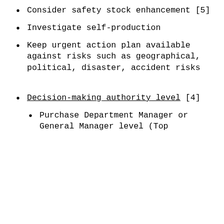Consider safety stock enhancement [5]
Investigate self-production
Keep urgent action plan available against risks such as geographical, political, disaster, accident risks
Decision-making authority level [4]
Purchase Department Manager or General Manager level (Top